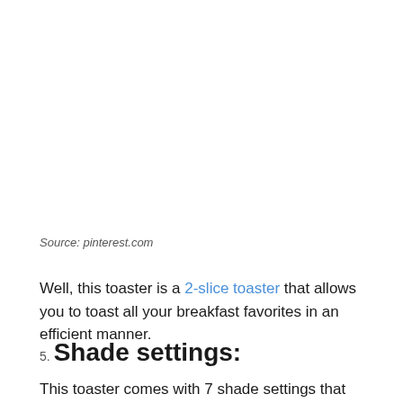Source: pinterest.com
Well, this toaster is a 2-slice toaster that allows you to toast all your breakfast favorites in an efficient manner.
5. Shade settings:
This toaster comes with 7 shade settings that allow you to